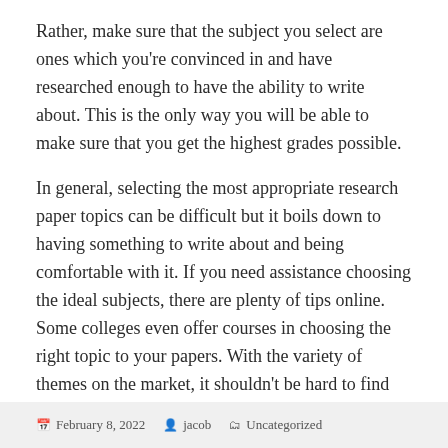Rather, make sure that the subject you select are ones which you're convinced in and have researched enough to have the ability to write about. This is the only way you will be able to make sure that you get the highest grades possible.
In general, selecting the most appropriate research paper topics can be difficult but it boils down to having something to write about and being comfortable with it. If you need assistance choosing the ideal subjects, there are plenty of tips online. Some colleges even offer courses in choosing the right topic to your papers. With the variety of themes on the market, it shouldn't be hard to find one that meets your requirements and your research paper deadline.
February 8, 2022   jacob   Uncategorized